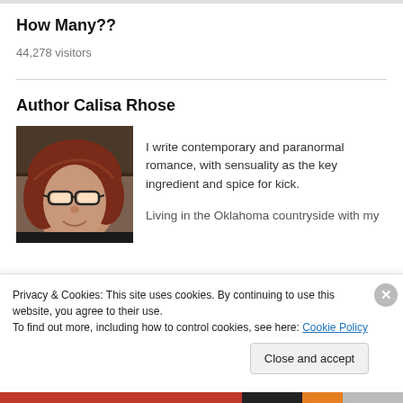How Many??
44,278 visitors
Author Calisa Rhose
[Figure (photo): Headshot photo of Author Calisa Rhose, a woman with reddish-brown hair and glasses, partially cropped]
I write contemporary and paranormal romance, with sensuality as the key ingredient and spice for kick.
Living in the Oklahoma countryside with my
Privacy & Cookies: This site uses cookies. By continuing to use this website, you agree to their use.
To find out more, including how to control cookies, see here: Cookie Policy
Close and accept